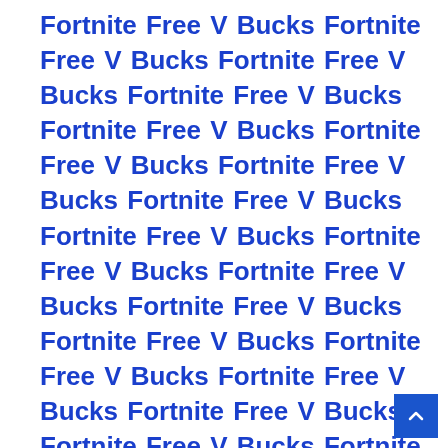Fortnite Free V Bucks Fortnite Free V Bucks Fortnite Free V Bucks Fortnite Free V Bucks Fortnite Free V Bucks Fortnite Free V Bucks Fortnite Free V Bucks Fortnite Free V Bucks Fortnite Free V Bucks Fortnite Free V Bucks Fortnite Free V Bucks Fortnite Free V Bucks Fortnite Free V Bucks Fortnite Free V Bucks Fortnite Free V Bucks Fortnite Free V Bucks Fortnite Free V Bucks Fortnite Free V Bucks Fortnite Free V Bucks Fortnite Free V Bucks Fortnite Free V Bucks Fortnite Free V Bucks Fortnite Free V Bucks Fortnite Free V Bucks Fortnite Free V Bucks Fortnite Free V Bucks Fortnite Free V Bucks Fortnite Free V Bucks Fortnite Free V Bucks Fortnite Free V Bucks